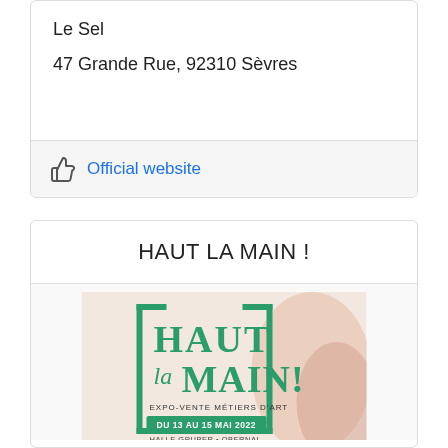Le Sel
47 Grande Rue, 92310 Sèvres
Official website
HAUT LA MAIN !
[Figure (illustration): Haut La Main! Expo-vente Métiers d'Art, Du 13 au 15 Mai 2022, Halle Gruber + Obernai — event poster with green decorative bracket text and floral elements]